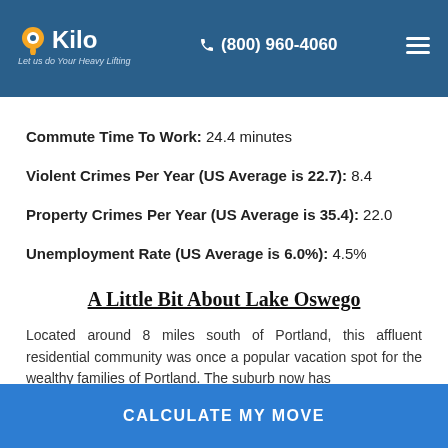Kilo Moving — Let us do Your Heavy Lifting | (800) 960-4060
Household Income: xx,xxx
Commute Time To Work: 24.4 minutes
Violent Crimes Per Year (US Average is 22.7): 8.4
Property Crimes Per Year (US Average is 35.4): 22.0
Unemployment Rate (US Average is 6.0%): 4.5%
A Little Bit About Lake Oswego
Located around 8 miles south of Portland, this affluent residential community was once a popular vacation spot for the wealthy families of Portland. The suburb now has
CALCULATE MY MOVE